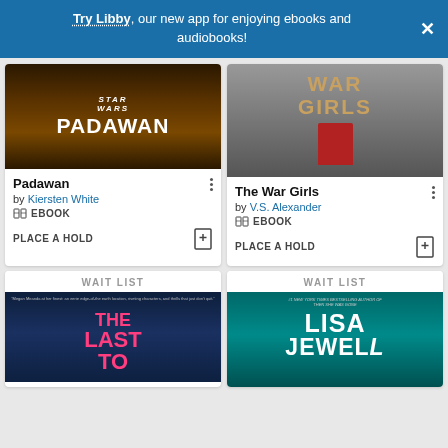Try Libby, our new app for enjoying ebooks and audiobooks!
[Figure (screenshot): Book cover for Padawan (Star Wars)]
Padawan
by Kiersten White
EBOOK
PLACE A HOLD
[Figure (screenshot): Book cover for The War Girls]
The War Girls
by V.S. Alexander
EBOOK
PLACE A HOLD
WAIT LIST
[Figure (screenshot): Book cover for The Last To (partially visible)]
WAIT LIST
[Figure (screenshot): Book cover for a Lisa Jewell book (partially visible)]